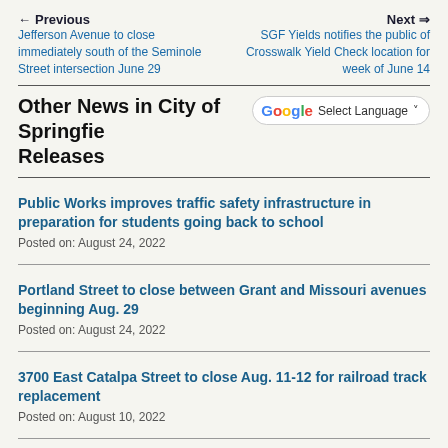← Previous
Jefferson Avenue to close immediately south of the Seminole Street intersection June 29
Next ⇒
SGF Yields notifies the public of Crosswalk Yield Check location for week of June 14
Other News in City of Springfield Press Releases
Public Works improves traffic safety infrastructure in preparation for students going back to school
Posted on: August 24, 2022
Portland Street to close between Grant and Missouri avenues beginning Aug. 29
Posted on: August 24, 2022
3700 East Catalpa Street to close Aug. 11-12 for railroad track replacement
Posted on: August 10, 2022